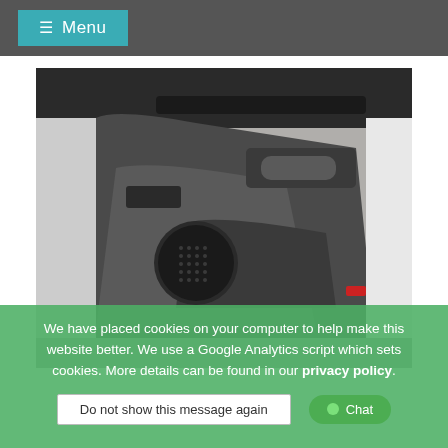≡ Menu
[Figure (photo): Interior photo of a vehicle door panel showing gray door trim, door handle, speaker grille, door pocket, and window controls. White exterior visible at edges.]
We have placed cookies on your computer to help make this website better. We use a Google Analytics script which sets cookies. More details can be found in our privacy policy.
Do not show this message again
● Chat